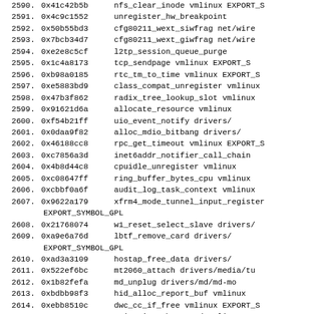2590. 0x41c42b5b  nfs_clear_inode vmlinux EXPORT_S
2591. 0x4c9c1552  unregister_hw_breakpoint
2592. 0x50b55bd3  cfg80211_wext_siwfrag  net/wire
2593. 0x7bcb34d7  cfg80211_wext_giwfrag  net/wire
2594. 0xe2e8c5cf  l2tp_session_queue_purge
2595. 0x1c4a8173  tcp_sendpage   vmlinux EXPORT_S
2596. 0xb98a0185  rtc_tm_to_time  vmlinux EXPORT_S
2597. 0xe5883bd9  class_compat_unregister vmlinux
2598. 0x47b3f862  radix_tree_lookup_slot  vmlinux
2599. 0x91621d6a  allocate_resource       vmlinux
2600. 0xf54b21ff  uio_event_notify        drivers/
2601. 0x0daa9f82  alloc_mdio_bitbang      drivers/
2602. 0x46188cc8  rpc_get_timeout vmlinux EXPORT_S
2603. 0xc7856a3d  inet6addr_notifier_call_chain
2604. 0x4b8d44c8  cpuidle_unregister      vmlinux
2605. 0xc08647ff  ring_buffer_bytes_cpu   vmlinux
2606. 0xcbbf0a6f  audit_log_task_context  vmlinux
2607. 0x9622a179  xfrm4_mode_tunnel_input_register
       EXPORT_SYMBOL_GPL
2608. 0x21768074  w1_reset_select_slave   drivers/
2609. 0xa9e6a76d  lbtf_remove_card        drivers/
       EXPORT_SYMBOL_GPL
2610. 0xad3a3109  hostap_free_data        drivers/
2611. 0x522ef6bc  mt2060_attach   drivers/media/tu
2612. 0x1b82fefa  md_unplug       drivers/md/md-mo
2613. 0xbdbb98f3  hid_alloc_report_buf    vmlinux
2614. 0xebb8510c  dwc_cc_if_free  vmlinux EXPORT_S
2615. 0x00a68ca4  spi_write_then_read     vmlinux
2616. 0xf08ef6b4  splice_from_pipe_feed   vmlinux
2617. 0x58a854f5  ...wifi...lin   EXPORT_S